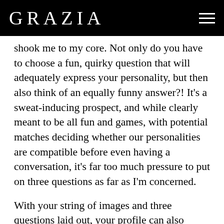GRAZIA
shook me to my core. Not only do you have to choose a fun, quirky question that will adequately express your personality, but then also think of an equally funny answer?! It’s a sweat-inducing prospect, and while clearly meant to be all fun and games, with potential matches deciding whether our personalities are compatible before even having a conversation, it’s far too much pressure to put on three questions as far as I’m concerned.
With your string of images and three questions laid out, your profile can also include your age, height, job, location, political leanings and